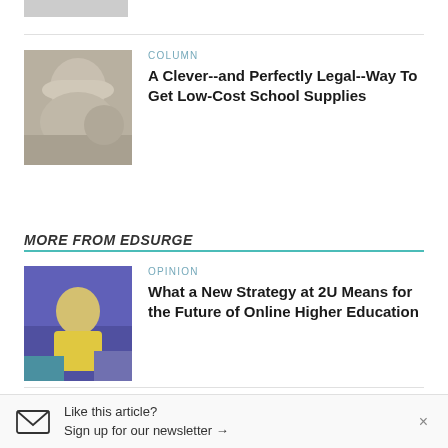[Figure (photo): Partial image stub at top, cropped gray rectangle]
COLUMN
A Clever--and Perfectly Legal--Way To Get Low-Cost School Supplies
[Figure (photo): Man in white cap looking up, crowd in background]
MORE FROM EDSURGE
OPINION
What a New Strategy at 2U Means for the Future of Online Higher Education
[Figure (photo): Person in yellow shirt speaking at conference with purple background]
Like this article?
Sign up for our newsletter →